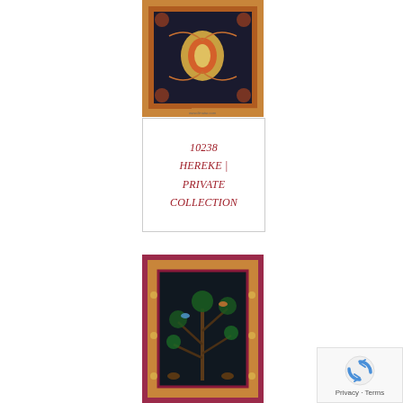[Figure (photo): Persian/Hereke rug with dark navy/black background, central medallion design with floral motifs and decorative border in red and gold tones. Watermark visible at bottom reading www.ilmatar.com]
10238 HEREKE | PRIVATE COLLECTION
[Figure (photo): Persian rug with black background featuring tree of life design with animals and birds, surrounded by decorative border in deep red/burgundy and gold floral patterns.]
Privacy · Terms